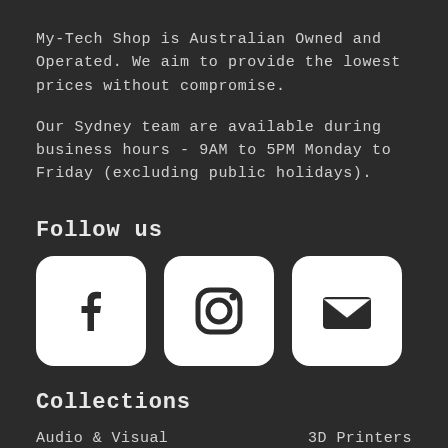My-Tech Shop is Australian Owned and Operated. We aim to provide the lowest prices without compromise.

Our Sydney team are available during business hours - 9AM to 5PM Monday to Friday (excluding public holidays).
Follow us
[Figure (illustration): Three social media icons in white rounded square boxes: Facebook logo, Instagram logo, and an email/envelope icon]
Collections
Audio & Visual    3D Printers